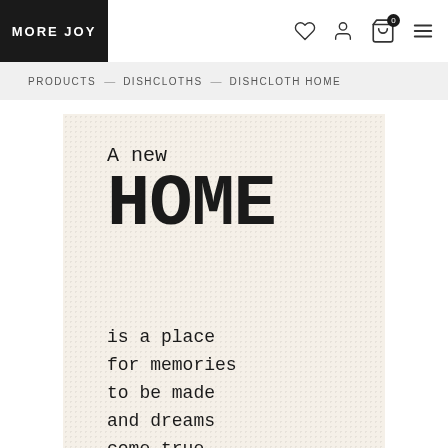MORE JOY
PRODUCTS — DISHCLOTHS — DISHCLOTH HOME
[Figure (photo): A dishcloth product with cream/off-white textured background printed with typewriter-style text: 'A new HOME is a place for memories to be made and dreams come true.']